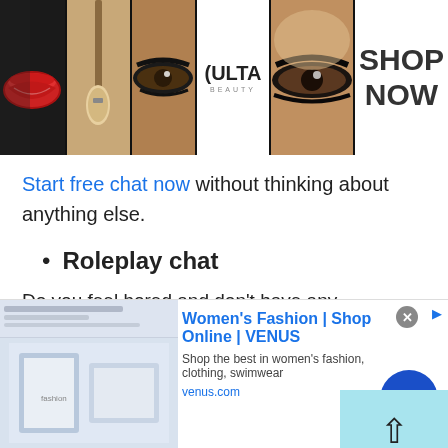[Figure (screenshot): ULTA Beauty banner advertisement with makeup images showing lips, brush, eye, ULTA logo, eye close-up, and SHOP NOW text]
Start free chat now without thinking about anything else.
Roleplay chat
Do you feel bored and don't have any excitement due to this pandemic life? If you want to do something different and get rid of boredom or loneliness then TWS role-play chat is a fantastic option to try. Talk to strangers in Congo and give
[Figure (screenshot): Women's Fashion | Shop Online | VENUS advertisement banner with fashion website screenshot and call-to-action button]